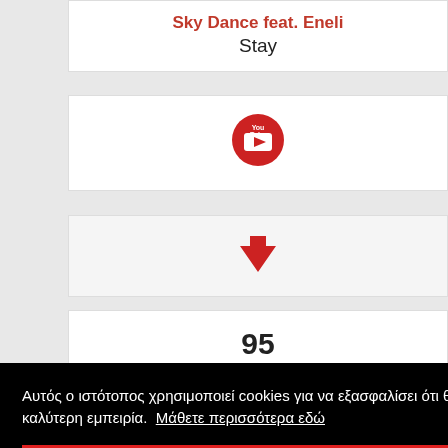Sky Dance feat. Eneli
Stay
[Figure (logo): YouTube red circle logo icon]
[Figure (other): Red downward arrow icon]
95
Αυτός ο ιστότοπος χρησιμοποιεί cookies για να εξασφαλίσει ότι θα έχετε την καλύτερη εμπειρία. Μάθετε περισσότερα εδώ
ΔΕΧΟΜΑΙ
[Figure (other): Green upward arrow icon (partially visible at bottom)]